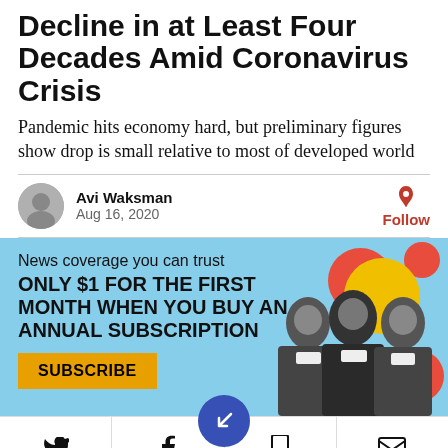Decline in at Least Four Decades Amid Coronavirus Crisis
Pandemic hits economy hard, but preliminary figures show drop is small relative to most of developed world
Avi Waksman
Aug 16, 2020
[Figure (infographic): News subscription advertisement banner with light blue background. Text: 'News coverage you can trust', 'ONLY $1 FOR THE FIRST MONTH WHEN YOU BUY AN ANNUAL SUBSCRIPTION', orange Subscribe button, and decorative circles (red, yellow) with black-and-white photos of political figures on the right.]
[Figure (infographic): Bottom navigation toolbar with Twitter, Facebook, bookmark (via blue circle center button with arrow icon), bookmark, and email icons.]